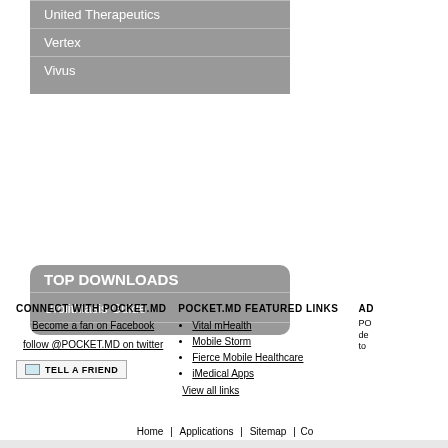United Therapeutics
Vertex
Vivus
TOP DOWNLOADS
Urolithiasis Guide
CONNECT WITH POCKET.MD
Become a fan on Facebook
follow @POCKET.MD on twitter
TELL A FRIEND
POCKET.MD FEATURED LINKS
Vital mHealth
Mobile Storm
Fierce Mobile Healthcare
iMedical Apps
View all links
AD
PO de to
Home | Applications | Sitemap | Co